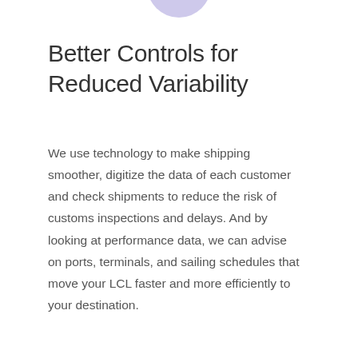[Figure (illustration): Partial circular graphic at top center of page, light purple/lavender color, cropped at top edge]
Better Controls for Reduced Variability
We use technology to make shipping smoother, digitize the data of each customer and check shipments to reduce the risk of customs inspections and delays. And by looking at performance data, we can advise on ports, terminals, and sailing schedules that move your LCL faster and more efficiently to your destination.